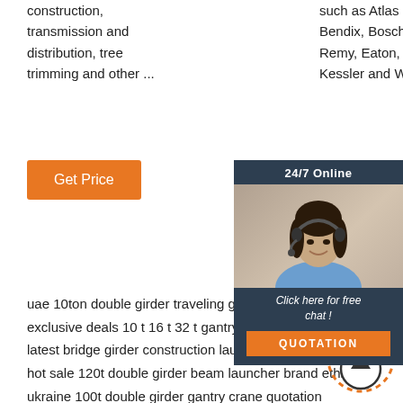construction, transmission and distribution, tree trimming and other ...
such as Atlas Copco, Bendix, Bosch, Delco Remy, Eaton, Holset, Kessler and Wabco.
Get Price
Get P...
[Figure (infographic): Chat widget with 24/7 Online label, photo of woman with headset, 'Click here for free chat!' text, and orange QUOTATION button]
uae 10ton double girder traveling gantry crane factory
exclusive deals 10 t 16 t 32 t gantry crane factory
latest bridge girder construction launcher crane 30ton
hot sale 120t double girder beam launcher brand ethio...
ukraine 100t double girder gantry crane quotation
110ton gantry crane professional after-sales
where buy popular 200t double beams gantry crane
quality-assured mini swing jib crane
indonesia 20t mobile workshop double beam gantry crane factory direct sales
i want buy affordable 2 ton 5 ton portable gantry crane
mexico 20t to100t gantry crane factory
bridge crane pipeline manufacturer portugal
[Figure (infographic): Top/back-to-top button with upward arrow icon in orange dotted circle style]